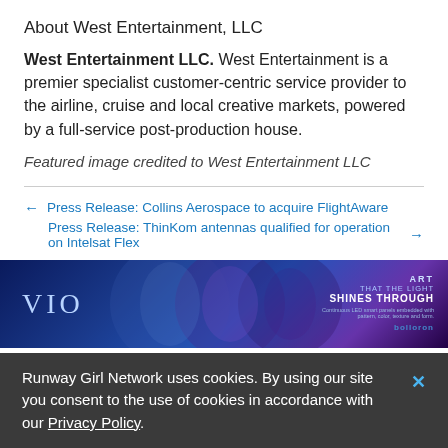About West Entertainment, LLC
West Entertainment LLC. West Entertainment is a premier specialist customer-centric service provider to the airline, cruise and local creative markets, powered by a full-service post-production house.
Featured image credited to West Entertainment LLC
← Press Release: Collins Aerospace to acquire FlightAware
Press Release: ThinKom antennas qualified for operation on Intelsat Flex →
[Figure (other): VIO advertisement banner with blue/purple gradient background showing circular design elements and text: ART THAT THE LIGHT SHINES THROUGH with Bolloron branding]
Runway Girl Network uses cookies. By using our site you consent to the use of cookies in accordance with our Privacy Policy.